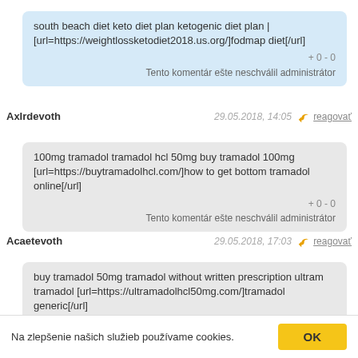south beach diet keto diet plan ketogenic diet plan | [url=https://weightlossketodiet2018.us.org/]fodmap diet[/url]
+ 0 - 0
Tento komentár ešte neschválil administrátor
AxIrdevoth
29.05.2018, 14:05  reagovať
100mg tramadol tramadol hcl 50mg buy tramadol 100mg [url=https://buytramadolhcl.com/]how to get bottom tramadol online[/url]
+ 0 - 0
Tento komentár ešte neschválil administrátor
Acaetevoth
29.05.2018, 17:03  reagovať
buy tramadol 50mg tramadol without written prescription ultram tramadol [url=https://ultramadolhcl50mg.com/]tramadol generic[/url]
+ 0 - 0
Tento komentár ešte neschválil administrátor
Na zlepšenie našich služieb používame cookies.
OK